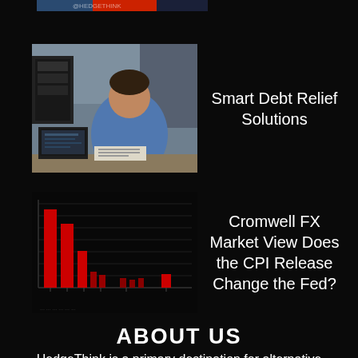[Figure (photo): Partial top strip of an image, cropped at page top]
[Figure (photo): Photo of a man sitting at a desk looking at papers, with a laptop visible]
Smart Debt Relief Solutions
[Figure (bar-chart): Bar chart with red vertical bars of varying heights on dark background, resembling a financial/FX market chart]
Cromwell FX Market View Does the CPI Release Change the Fed?
ABOUT US
HedgeThink is a primary destination for alternative investors and hedge funds. HedgeThink.com is a digital meeting place for fund managers and investors all over the world. Our focus is firmly on thought leadership, technology, and where the industry is headed. Encouraging transparency, and fostering dialogue between hedge funds and accredited investors, HedgeThink.com is where anyone with an interest in fund